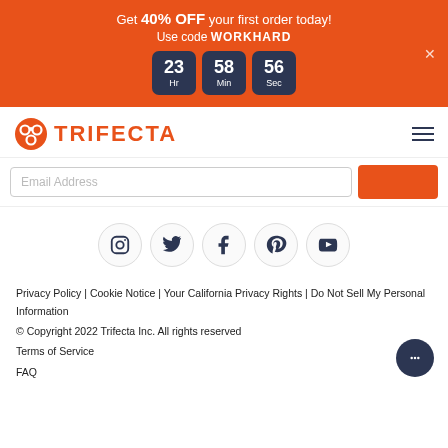Get 40% OFF your first order today! Use code WORKHARD
[Figure (infographic): Countdown timer showing 23 Hr, 58 Min, 56 Sec with a close button]
[Figure (logo): Trifecta logo with orange icon and text TRIFECTA, hamburger menu icon on right]
[Figure (screenshot): Email address input field with orange subscribe button]
[Figure (infographic): Social media icons in circles: Instagram, Twitter, Facebook, Pinterest, YouTube]
Privacy Policy | Cookie Notice | Your California Privacy Rights | Do Not Sell My Personal Information
© Copyright 2022 Trifecta Inc. All rights reserved
Terms of Service
FAQ